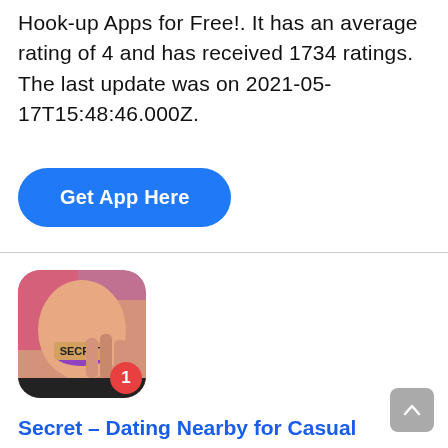Hook-up Apps for Free!. It has an average rating of 4 and has received 1734 ratings. The last update was on 2021-05-17T15:48:46.000Z.
Get App Here
[Figure (illustration): App icon for Secret – Dating Nearby for Casual encounters. Shows a woman with purple lips holding a word 'SECRET' in front of her mouth. A red badge with number 1 appears on the bottom right.]
Secret – Dating Nearby for Casual encounters
Developer: New Technologies LLC